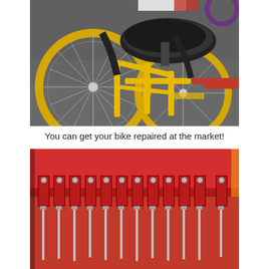[Figure (photo): Close-up photograph of a yellow bicycle/tricycle with large yellow-rimmed wheels, black seat, and yellow metal frame. Multiple bikes visible in the background on pavement.]
You can get your bike repaired at the market!
[Figure (photo): Close-up photograph of a red tool roll or tool organizer with multiple metal wrenches/spanners inserted into red fabric loops with metal studs.]